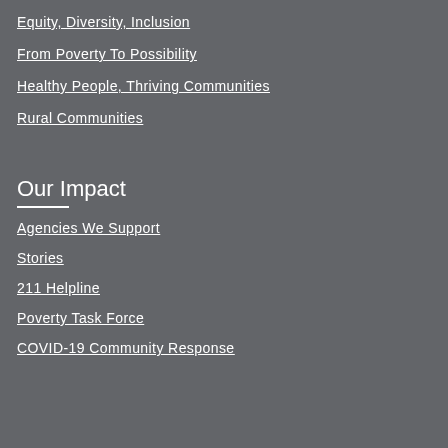Equity, Diversity, Inclusion
From Poverty To Possibility
Healthy People, Thriving Communities
Rural Communities
Our Impact
Agencies We Support
Stories
211 Helpline
Poverty Task Force
COVID-19 Community Response